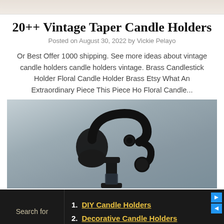[Figure (photo): Partial top image of candle holders, light colored background]
20++ Vintage Taper Candle Holders
Posted on August 30, 2022 by Vickie Pelayo
Or Best Offer 1000 shipping. See more ideas about vintage candle holders candle holders vintage. Brass Candlestick Holder Floral Candle Holder Brass Etsy What An Extraordinary Piece This Piece Ho Floral Candle...
[Figure (photo): Black ornate vintage candle holder / candlestick with decorative scrollwork, photographed against a light blue-grey background]
1. DIY Candle Holders
2. Decorative Candle Holders